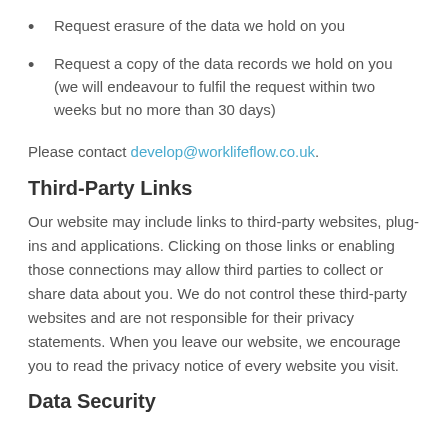Request erasure of the data we hold on you
Request a copy of the data records we hold on you (we will endeavour to fulfil the request within two weeks but no more than 30 days)
Please contact develop@worklifeflow.co.uk.
Third-Party Links
Our website may include links to third-party websites, plug-ins and applications. Clicking on those links or enabling those connections may allow third parties to collect or share data about you. We do not control these third-party websites and are not responsible for their privacy statements. When you leave our website, we encourage you to read the privacy notice of every website you visit.
Data Security